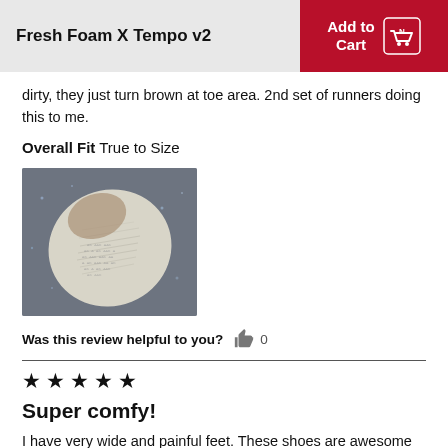Fresh Foam X Tempo v2
dirty, they just turn brown at toe area. 2nd set of runners doing this to me.
Overall Fit  True to Size
[Figure (photo): Photo of a shoe's toe area showing brownish discoloration on white material, placed on a gray speckled surface]
Was this review helpful to you?   0
★ ★ ★ ★ ★
Super comfy!
I have very wide and painful feet. These shoes are awesome and fit really